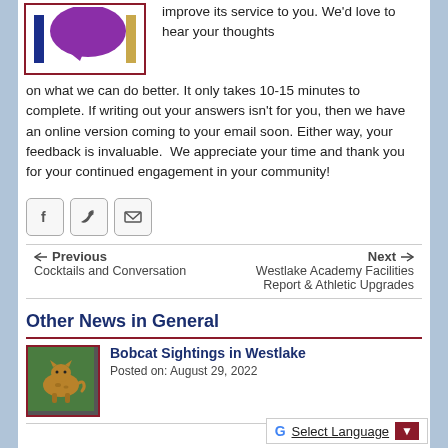[Figure (illustration): Survey graphic with purple speech bubble, blue bar, and gold bar icon inside a dark red border box]
improve its service to you. We'd love to hear your thoughts on what we can do better. It only takes 10-15 minutes to complete. If writing out your answers isn't for you, then we have an online version coming to your email soon. Either way, your feedback is invaluable.  We appreciate your time and thank you for your continued engagement in your community!
[Figure (infographic): Social media sharing icons: Facebook, Twitter, and Email/envelope buttons]
← Previous
Cocktails and Conversation
Next ⇒
Westlake Academy Facilities Report & Athletic Upgrades
Other News in General
[Figure (photo): Photo of a bobcat in green grass with dark red border]
Bobcat Sightings in Westlake
Posted on: August 29, 2022